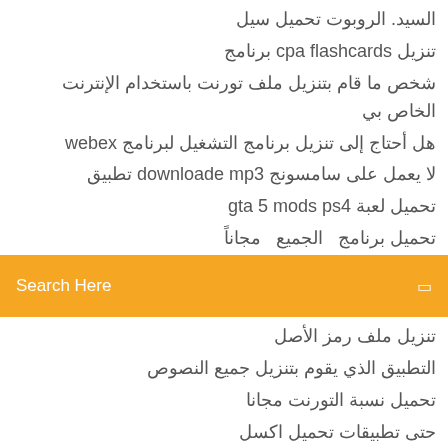السيد. الروبوت تحميل سيل
تنزيل cpa flashcards برنامج
شخص ما قام بتنزيل ملف تورنت باستخدام الإنترنت الخاص بي
هل أحتاج إلى تنزيل برنامج التشغيل لبرنامج webex
لا يعمل على سامسونج downloade mp3 تطبيق
تحميل لعبة gta 5 mods ps4
تحميل برنامج...الجميع...مجاناً
[Figure (screenshot): Orange search bar with placeholder text 'Search Here' and a small icon on the right]
تنزيل ملف رمز الأصل
التطبيق الذي يقوم بتنزيل جميع النصوص
تحميل نسبة التورنت مجانا
حتى تطبيقات تحميل اكسل
تنزيل seisen cerberus_ ryuukoku no fatalitã © s torrent
كيف فستان العرق لإقناع تحميل الألبوم
تحميل محاربي بالادين من شارلمان pdf
تحميل مجاني metallica hardwired ... ذاتيًا الكامل الألبوم لتدمير
برنامج نصي لتنزيل الملف الآمن
كيفية تعطيل التنزيل لمشاركة ملف dropbox